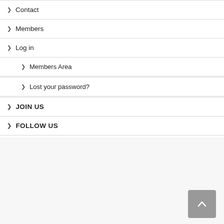Contact
Members
Log in
Members Area
Lost your password?
JOIN US
FOLLOW US